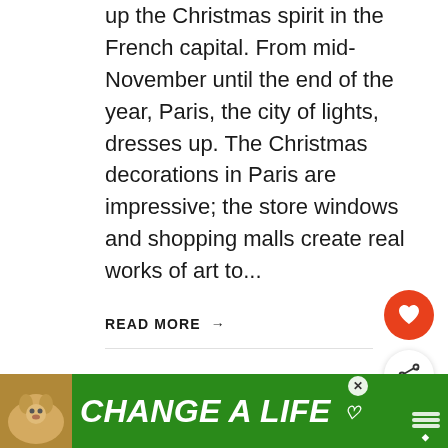up the Christmas spirit in the French capital. From mid-November until the end of the year, Paris, the city of lights, dresses up. The Christmas decorations in Paris are impressive; the store windows and shopping malls create real works of art to...
READ MORE →
[Figure (screenshot): Heart/like button (red circle with white heart icon) and share button (white circle with share icon)]
[Figure (screenshot): What's Next widget showing thumbnail of Costa Rica with orange label 'WHAT'S NEXT →' and title 'Best Things To Do in Cos...']
[Figure (screenshot): Advertisement banner with green background showing a dog and text 'CHANGE A LIFE' with close button and app logo]